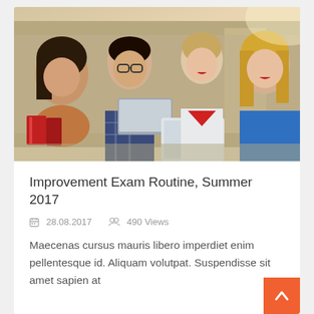[Figure (photo): Four young students (three women and one man with glasses) gathered outdoors, smiling and looking at a tablet device. The man holds a laptop and books. Background shows a city street with warm sunlight.]
Improvement Exam Routine, Summer 2017
📅 28.08.2017   👥 490 Views
Maecenas cursus mauris libero imperdiet enim pellentesque id. Aliquam volutpat. Suspendisse sit amet sapien at